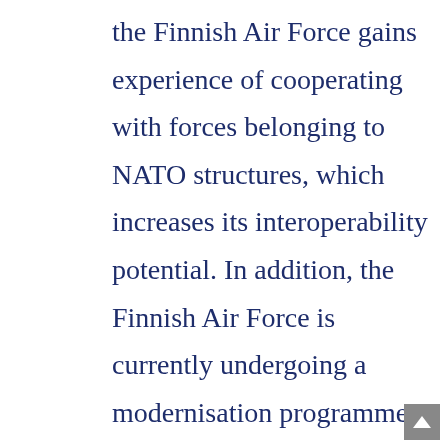the Finnish Air Force gains experience of cooperating with forces belonging to NATO structures, which increases its interoperability potential. In addition, the Finnish Air Force is currently undergoing a modernisation programme. There is a discussion on whether to purchase a new fighter jet model. Two American models: the Lockheed Martin F-35 and the Boeing F/A-18E/F Super Hornet are taken into consideration